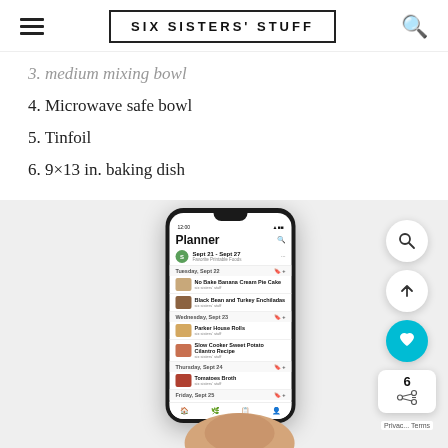SIX SISTERS' STUFF
3. medium mixing bowl
4. Microwave safe bowl
5. Tinfoil
6. 9×13 in. baking dish
[Figure (screenshot): Hand holding a smartphone displaying the Six Sisters' Stuff Planner app showing a weekly meal plan with multiple recipe entries for different days including No Bake Banana Cream Pie Cake, Black Bean and Turkey Enchiladas, Parker House Rolls, Slow Cooker Sweet Potato Cilantro Recipe, Tomatoes Broth, Slow Cooker Chicken Ranch Hack Casserole, and The Best Homemade Pasta Salad]